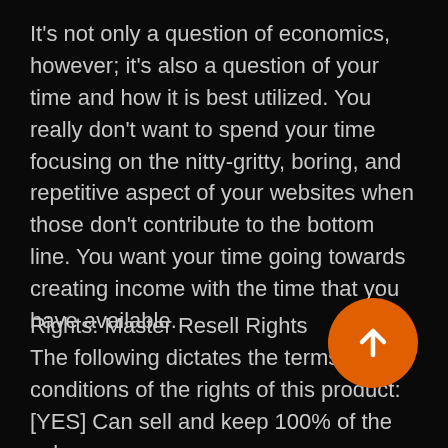It's not only a question of economics, however; it's also a question of your time and how it is best utilized. You really don't want to spend your time focusing on the nitty-gritty, boring, and repetitive aspect of your websites when those don't contribute to the bottom line. You want your time going towards creating income with the time that you have available.
Rights: Master Resell Rights
The following dictates the terms and conditions of the rights of this product:
[YES] Can sell and keep 100% of the sales.
[YES] Can edit the squeeze page.